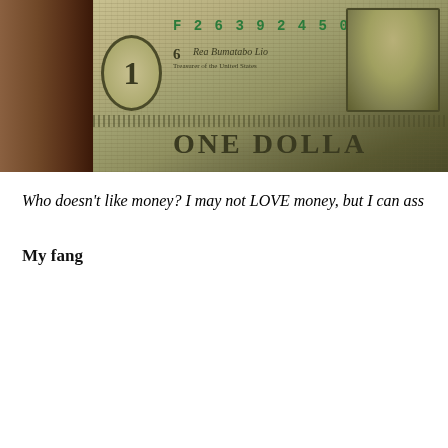[Figure (photo): Close-up photo of a US one dollar bill showing serial number F26392450A, district number 6, treasurer signature, and 'ONE DOLLA' text visible]
Who doesn't like money? I may not LOVE money, but I can ass
My fang
[Figure (photo): Close-up blurry photo of a mouth/fang, showing pink gums and teeth]